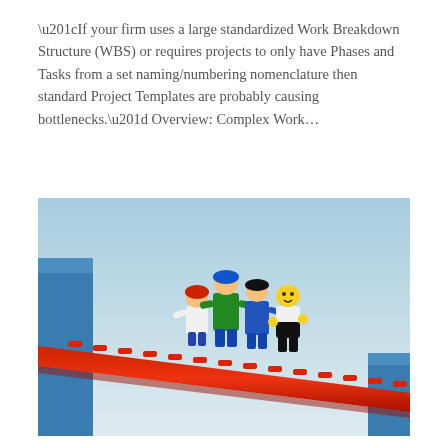“If your firm uses a large standardized Work Breakdown Structure (WBS) or requires projects to only have Phases and Tasks from a set naming/numbering nomenclature then standard Project Templates are probably causing bottlenecks.” Overview: Complex Work…
[Figure (photo): Photo of four LEGO minifigure workers walking along a red LEGO beam/bridge suspended in the air against a blue sky background. The figures wear construction-style outfits in white, green, blue, and white with black.]